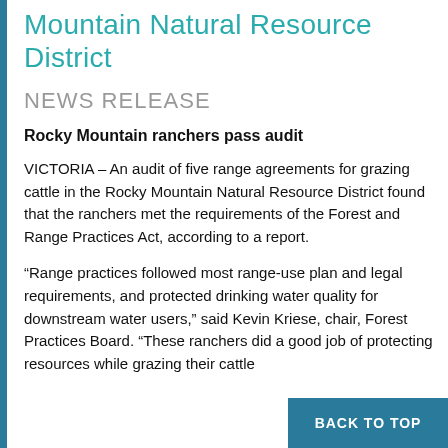Mountain Natural Resource District
NEWS RELEASE
Rocky Mountain ranchers pass audit
VICTORIA – An audit of five range agreements for grazing cattle in the Rocky Mountain Natural Resource District found that the ranchers met the requirements of the Forest and Range Practices Act, according to a report.
“Range practices followed most range-use plan and legal requirements, and protected drinking water quality for downstream water users,” said Kevin Kriese, chair, Forest Practices Board. “These ranchers did a good job of protecting resources while grazing their cattle